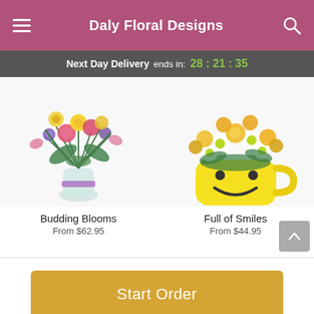Daly Floral Designs
Next Day Delivery ends in: 28 : 21 : 35
[Figure (photo): Colorful mixed flower bouquet in a glass vase with a purple ribbon. Includes pink carnations, yellow roses, purple and blue flowers, and green foliage.]
Budding Blooms
From $62.95
[Figure (photo): Yellow and white flower arrangement in a yellow smiley face mug. Includes yellow roses, white daisies, and yellow mums.]
Full of Smiles
From $44.95
Start Order